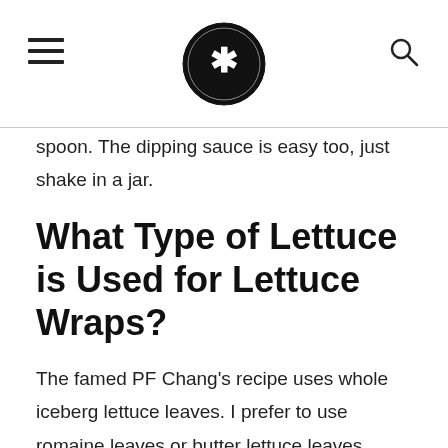[Logo: Frugal Life - fork and spoon icon]
spoon. The dipping sauce is easy too, just shake in a jar.
What Type of Lettuce is Used for Lettuce Wraps?
The famed PF Chang's recipe uses whole iceberg lettuce leaves. I prefer to use romaine leaves or butter lettuce leaves. Choose what you like and what's best at the store. If using Romaine, 1 bag usually